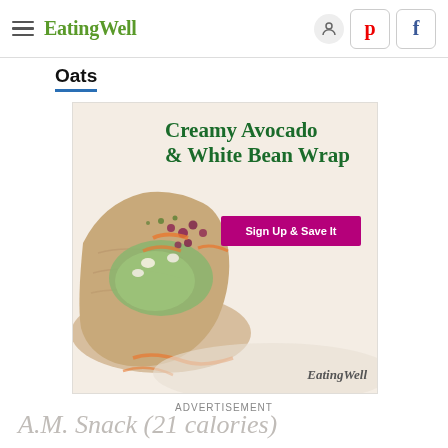EatingWell
Oats
[Figure (photo): Advertisement for EatingWell featuring a Creamy Avocado & White Bean Wrap recipe with a photo of a wrap filled with avocado, white beans, red cabbage, and carrots. Includes a purple 'Sign Up & Save It' button and EatingWell logo.]
ADVERTISEMENT
A.M. Snack (21 calories)